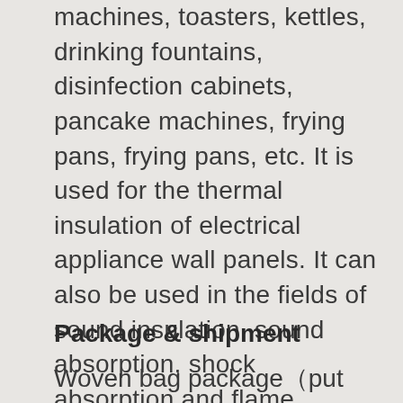machines, toasters, kettles, drinking fountains, disinfection cabinets, pancake machines, frying pans, frying pans, etc. It is used for the thermal insulation of electrical appliance wall panels. It can also be used in the fields of sound insulation, sound absorption, shock absorption and flame retardant in the automobile industry. Also used in the field of industrial filtration: high-temperature flue gas filtration. For example, various bag filters are used for flue gas purification and dust recovery in carbon black, steel, non-ferrous metals, chemical, incineration and other industries.
Package & shipment
Woven bag package（put the needle mat into